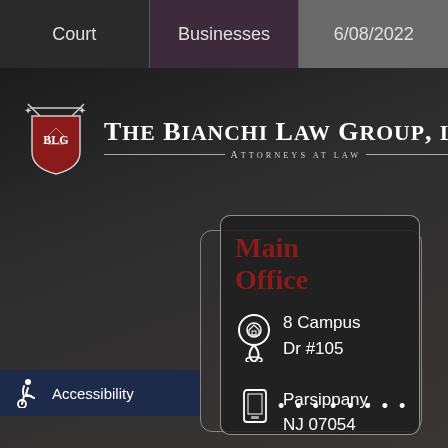Court | Businesses | 6/08/2022
[Figure (logo): The Bianchi Law Group, LLC — Attorneys at Law logo with shield/crest bearing initials BLG]
The Bianchi Law Group, LLC — Attorneys at Law
Main Office
8 Campus Dr #105 Parsippany, NJ 07054
Accessibility